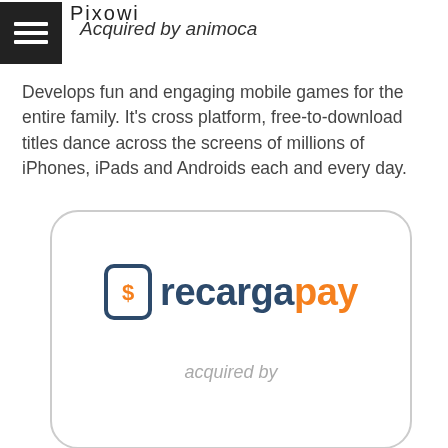Pixowi
Acquired by animoca
Develops fun and engaging mobile games for the entire family. It's cross platform, free-to-download titles dance across the screens of millions of iPhones, iPads and Androids each and every day.
[Figure (logo): RecargaPay logo inside a rounded rectangle card with 'acquired by' text below]
acquired by